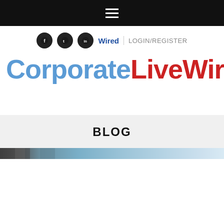≡ (hamburger menu)
🅕 🅣 in Wired LOGIN/REGISTER
CorporateLiveWire
BLOG
[Figure (photo): Narrow horizontal strip image showing a blurred business/technology scene with blue tones]